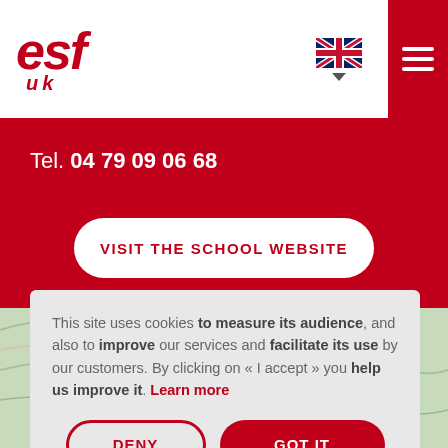[Figure (logo): ESF UK logo in red italic bold text]
[Figure (illustration): UK flag icon with dropdown arrow]
Tel. 04 79 09 06 68
VISIT THE SCHOOL WEBSITE
This site uses cookies to measure its audience, and also to improve our services and facilitate its use by our customers. By clicking on « I accept » you help us improve it. Learn more
DENY
GOT IT
2598 m